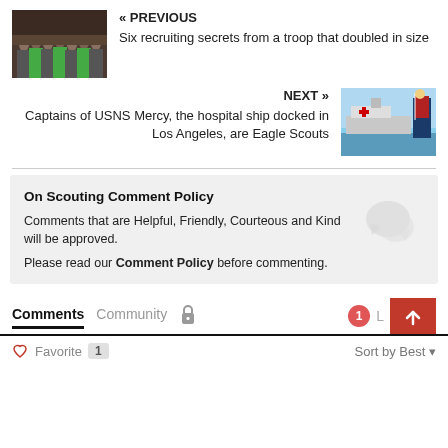[Figure (photo): Group photo of scout troop members]
« PREVIOUS
Six recruiting secrets from a troop that doubled in size
[Figure (photo): USNS Mercy hospital ship docked, with person holding American flag]
NEXT »
Captains of USNS Mercy, the hospital ship docked in Los Angeles, are Eagle Scouts
On Scouting Comment Policy
Comments that are Helpful, Friendly, Courteous and Kind will be approved.
Please read our Comment Policy before commenting.
Comments   Community   1   L
♡ Favorite   1   Sort by Best